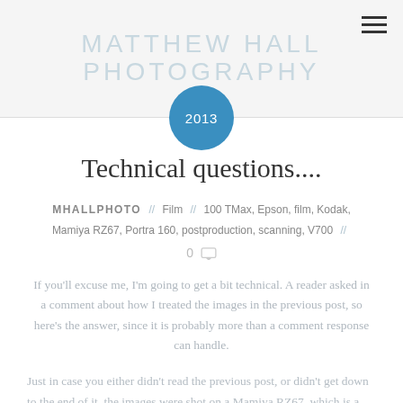MATTHEW HALL PHOTOGRAPHY
[Figure (other): Year badge circle with '2013' text in white on blue background]
Technical questions....
MHALLPHOTO // Film // 100 TMax, Epson, film, Kodak, Mamiya RZ67, Portra 160, postproduction, scanning, V700 // 0
If you'll excuse me, I'm going to get a bit technical. A reader asked in a comment about how I treated the images in the previous post, so here's the answer, since it is probably more than a comment response can handle.
Just in case you either didn't read the previous post, or didn't get down to the end of it, the images were shot on a Mamiya RZ67, which is a medium format camera that